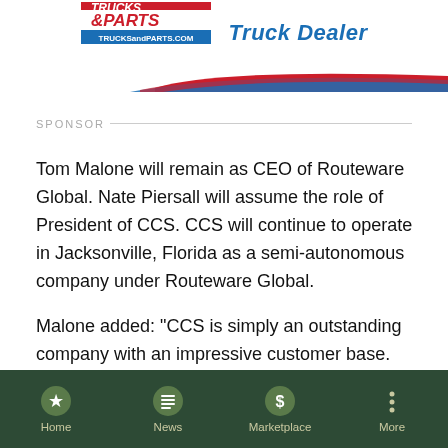[Figure (logo): Trucks & Parts logo with TRUCKSANDPARTS.COM tagline and red/blue swoosh bar, plus 'Truck Dealer' text in blue italic]
SPONSOR
Tom Malone will remain as CEO of Routeware Global. Nate Piersall will assume the role of President of CCS. CCS will continue to operate in Jacksonville, Florida as a semi-autonomous company under Routeware Global.
Malone added: "CCS is simply an outstanding company with an impressive customer base. The addition of Nate and his team to Routeware Global makes both companies significantly stronger."
For more information, visit www.routeware.com or www.ccscorp.com.
Home | News | Marketplace | More